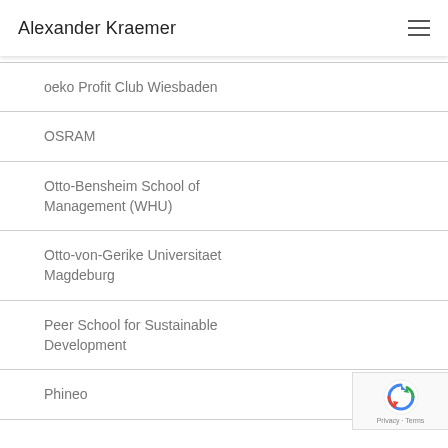Alexander Kraemer
oeko Profit Club Wiesbaden
OSRAM
Otto-Bensheim School of Management (WHU)
Otto-von-Gerike Universitaet Magdeburg
Peer School for Sustainable Development
Phineo